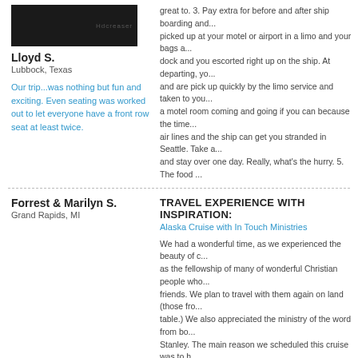[Figure (photo): Dark/black photo with small watermark text at bottom right]
Lloyd S.
Lubbock, Texas
Our trip...was nothing but fun and exciting. Even seating was worked out to let everyone have a front row seat at least twice.
great to. 3. Pay extra for before and after ship boarding and... picked up at your motel or airport in a limo and your bags a... dock and you escorted right up on the ship. At departing, yo... and are pick up quickly by the limo service and taken to you... a motel room coming and going if you can because the time... air lines and the ship can get you stranded in Seattle. Take a... and stay over one day. Really, what's the hurry. 5. The food ...
Forrest & Marilyn S.
Grand Rapids, MI
TRAVEL EXPERIENCE WITH INSPIRATION:
Alaska Cruise with In Touch Ministries
We had a wonderful time, as we experienced the beauty of c... as the fellowship of many of wonderful Christian people who... friends. We plan to travel with them again on land (those fro... table.) We also appreciated the ministry of the word from bo... Stanley. The main reason we scheduled this cruise was to h... Family however, and we were disappointed that they did not... of the other music groups that DID perform were not to our l... performed many times, even repeating selections and by the... because they were "out" of music. Also there were some da... "events" scheduled and on other days when we visited a por... as three events as well. We would have preferred to have th... spread out. The food and accommodations were excellent a...